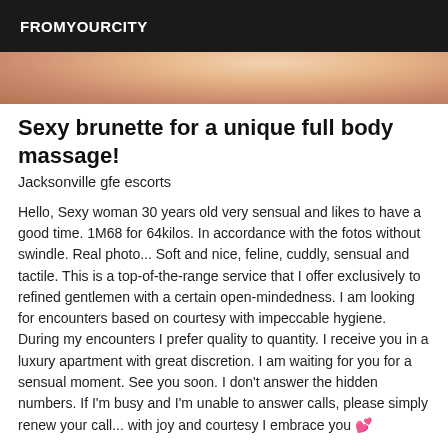FROMYOURCITY
[Figure (photo): Cropped photo of a person, warm skin tones visible at the top of the listing page]
Sexy brunette for a unique full body massage!
Jacksonville gfe escorts
Hello, Sexy woman 30 years old very sensual and likes to have a good time. 1M68 for 64kilos. In accordance with the fotos without swindle. Real photo... Soft and nice, feline, cuddly, sensual and tactile. This is a top-of-the-range service that I offer exclusively to refined gentlemen with a certain open-mindedness. I am looking for encounters based on courtesy with impeccable hygiene. During my encounters I prefer quality to quantity. I receive you in a luxury apartment with great discretion. I am waiting for you for a sensual moment. See you soon. I don't answer the hidden numbers. If I'm busy and I'm unable to answer calls, please simply renew your call... with joy and courtesy I embrace you 💕